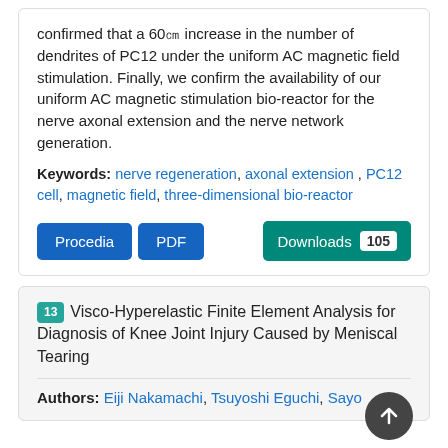confirmed that a 60% increase in the number of dendrites of PC12 under the uniform AC magnetic field stimulation. Finally, we confirm the availability of our uniform AC magnetic stimulation bio-reactor for the nerve axonal extension and the nerve network generation.
Keywords: nerve regeneration, axonal extension, PC12 cell, magnetic field, three-dimensional bio-reactor
Procedia | PDF | Downloads 105
13 Visco-Hyperelastic Finite Element Analysis for Diagnosis of Knee Joint Injury Caused by Meniscal Tearing
Authors: Eiji Nakamachi, Tsuyoshi Eguchi, Sayo